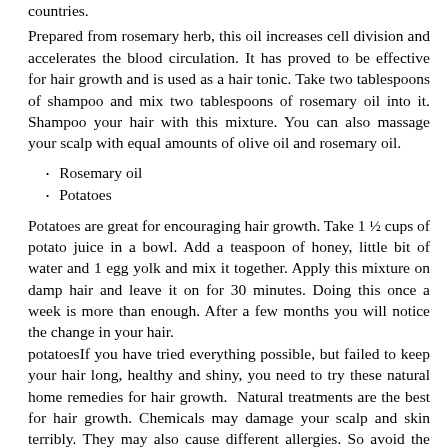countries.
Prepared from rosemary herb, this oil increases cell division and accelerates the blood circulation. It has proved to be effective for hair growth and is used as a hair tonic. Take two tablespoons of shampoo and mix two tablespoons of rosemary oil into it. Shampoo your hair with this mixture. You can also massage your scalp with equal amounts of olive oil and rosemary oil.
Rosemary oil
Potatoes
Potatoes are great for encouraging hair growth. Take 1 ½ cups of potato juice in a bowl. Add a teaspoon of honey, little bit of water and 1 egg yolk and mix it together. Apply this mixture on damp hair and leave it on for 30 minutes. Doing this once a week is more than enough. After a few months you will notice the change in your hair. potatoesIf you have tried everything possible, but failed to keep your hair long, healthy and shiny, you need to try these natural home remedies for hair growth.  Natural treatments are the best for hair growth. Chemicals may damage your scalp and skin terribly. They may also cause different allergies. So avoid the extra effort and cut down on